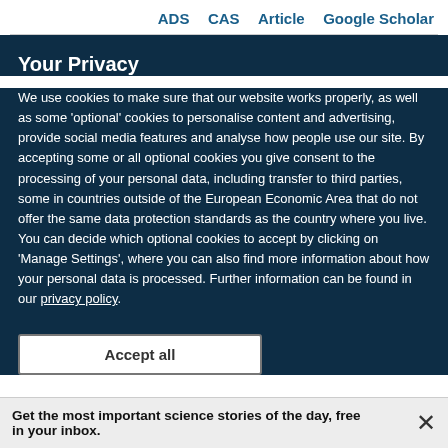ADS   CAS   Article   Google Scholar
Your Privacy
We use cookies to make sure that our website works properly, as well as some 'optional' cookies to personalise content and advertising, provide social media features and analyse how people use our site. By accepting some or all optional cookies you give consent to the processing of your personal data, including transfer to third parties, some in countries outside of the European Economic Area that do not offer the same data protection standards as the country where you live. You can decide which optional cookies to accept by clicking on 'Manage Settings', where you can also find more information about how your personal data is processed. Further information can be found in our privacy policy.
Accept all
Get the most important science stories of the day, free in your inbox.